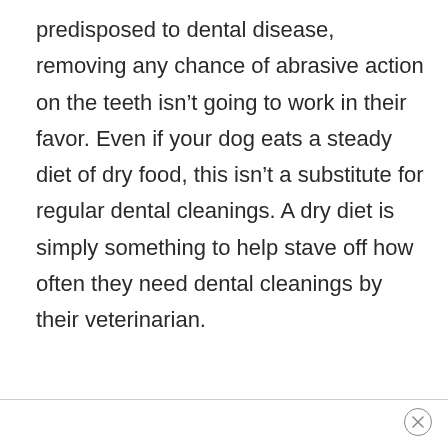predisposed to dental disease, removing any chance of abrasive action on the teeth isn't going to work in their favor. Even if your dog eats a steady diet of dry food, this isn't a substitute for regular dental cleanings. A dry diet is simply something to help stave off how often they need dental cleanings by their veterinarian.